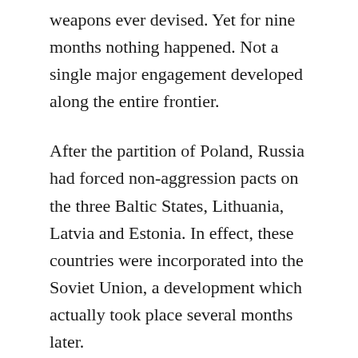weapons ever devised. Yet for nine months nothing happened. Not a single major engagement developed along the entire frontier.
After the partition of Poland, Russia had forced non-aggression pacts on the three Baltic States, Lithuania, Latvia and Estonia. In effect, these countries were incorporated into the Soviet Union, a development which actually took place several months later.
On Oct. 7, 1939, the Soviet government made demands on Finland similar to those made on the Baltic States. Specifically, Russia wanted certain islands in the Gulf of Finland as a protective screen for the great Naval base at Kronstadt